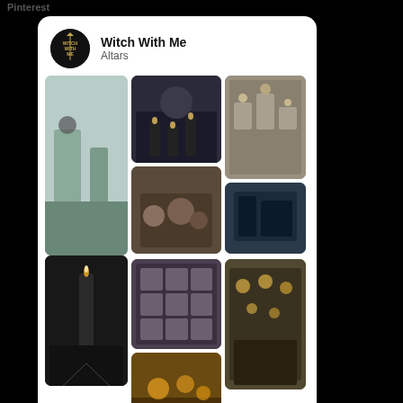Pinterest
[Figure (screenshot): Pinterest board widget showing 'Witch With Me' profile with 'Altars' board. Grid of witchcraft/altar photos including candles, shelves, and mystical items. Follow On Pinterest button at bottom.]